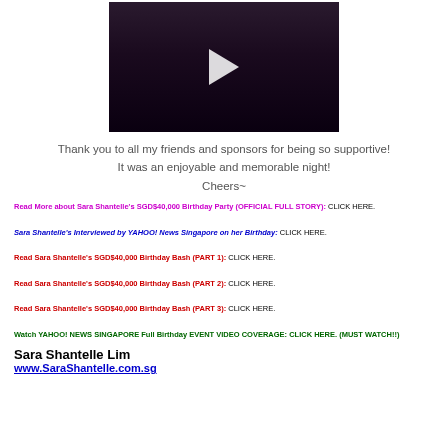[Figure (screenshot): Video thumbnail showing a group of people at a party/event with dark background, with a play button overlay in the center]
Thank you to all my friends and sponsors for being so supportive!
It was an enjoyable and memorable night!
Cheers~
Read More about Sara Shantelle's SGD$40,000 Birthday Party (OFFICIAL FULL STORY): CLICK HERE.
Sara Shantelle's Interviewed by YAHOO! News Singapore on her Birthday: CLICK HERE.
Read Sara Shantelle's SGD$40,000 Birthday Bash (PART 1): CLICK HERE.
Read Sara Shantelle's SGD$40,000 Birthday Bash (PART 2): CLICK HERE.
Read Sara Shantelle's SGD$40,000 Birthday Bash (PART 3): CLICK HERE.
Watch YAHOO! NEWS SINGAPORE Full Birthday EVENT VIDEO COVERAGE: CLICK HERE. (MUST WATCH!!)
Sara Shantelle Lim
www.SaraShantelle.com.sg